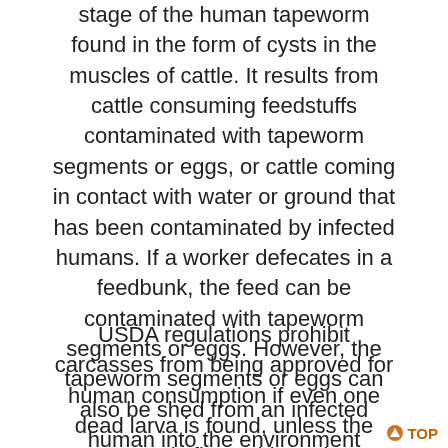stage of the human tapeworm found in the form of cysts in the muscles of cattle. It results from cattle consuming feedstuffs contaminated with tapeworm segments or eggs, or cattle coming in contact with water or ground that has been contaminated by infected humans. If a worker defecates in a feedbunk, the feed can be contaminated with tapeworm segments or eggs. However, the tapeworm segments or eggs can also be shed from an infected human into the environment without defecating.
USDA regulations prohibit carcasses from being approved for human consumption if even one dead larva is found, unless the carcass is first subjected to refrigeration or heat sufficient to destroy all larvae. If cysts are distributed throughout the carcass, it is condemned. Generally, only